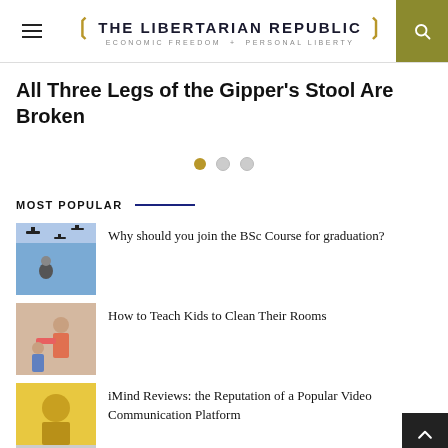THE LIBERTARIAN REPUBLIC — ECONOMIC FREEDOM + PERSONAL LIBERTY
All Three Legs of the Gipper's Stool Are Broken
MOST POPULAR
Why should you join the BSc Course for graduation?
How to Teach Kids to Clean Their Rooms
iMind Reviews: the Reputation of a Popular Video Communication Platform